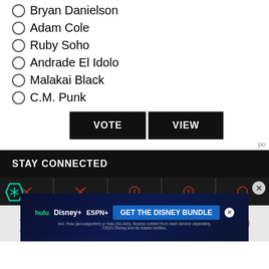Bryan Danielson
Adam Cole
Ruby Soho
Andrade El Idolo
Malakai Black
C.M. Punk
VOTE   VIEW
po
STAY CONNECTED
[Figure (screenshot): Social media icons row with Twitter and Facebook icons on dark and light backgrounds, plus a Disney Bundle advertisement banner showing Hulu, Disney+, ESPN+ logos with GET THE DISNEY BUNDLE call to action]